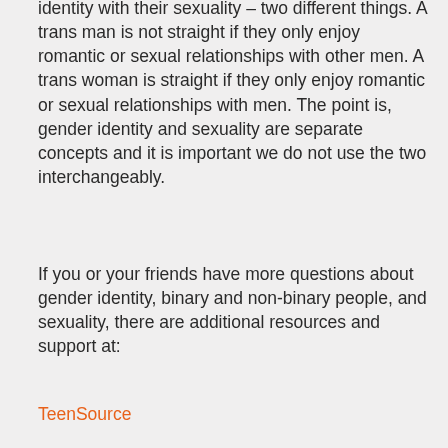identity with their sexuality – two different things. A trans man is not straight if they only enjoy romantic or sexual relationships with other men. A trans woman is straight if they only enjoy romantic or sexual relationships with men. The point is, gender identity and sexuality are separate concepts and it is important we do not use the two interchangeably.
If you or your friends have more questions about gender identity, binary and non-binary people, and sexuality, there are additional resources and support at:
TeenSource